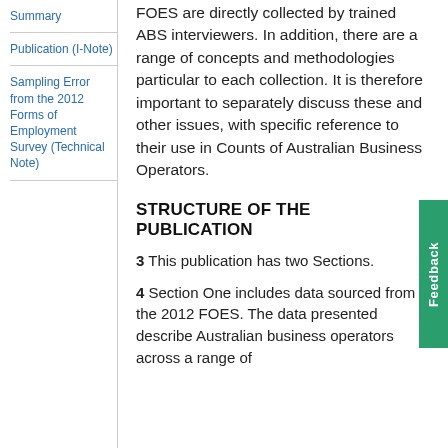Summary
Publication (I-Note)
Sampling Error from the 2012 Forms of Employment Survey (Technical Note)
FOES are directly collected by trained ABS interviewers. In addition, there are a range of concepts and methodologies particular to each collection. It is therefore important to separately discuss these and other issues, with specific reference to their use in Counts of Australian Business Operators.
STRUCTURE OF THE PUBLICATION
3 This publication has two Sections.
4 Section One includes data sourced from the 2012 FOES. The data presented describe Australian business operators across a range of